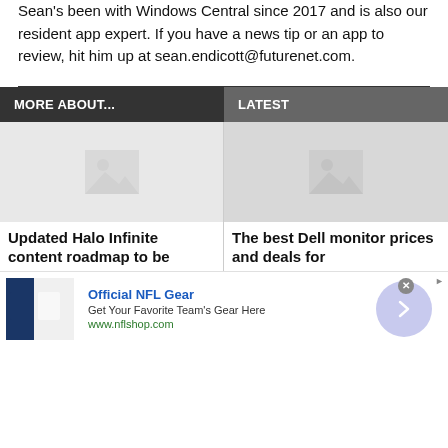Sean's been with Windows Central since 2017 and is also our resident app expert. If you have a news tip or an app to review, hit him up at sean.endicott@futurenet.com.
MORE ABOUT...
LATEST
[Figure (photo): Placeholder image thumbnail for article]
Updated Halo Infinite content roadmap to be
[Figure (photo): Placeholder image thumbnail for article]
The best Dell monitor prices and deals for
[Figure (screenshot): Advertisement: Official NFL Gear - Get Your Favorite Team's Gear Here - www.nflshop.com]